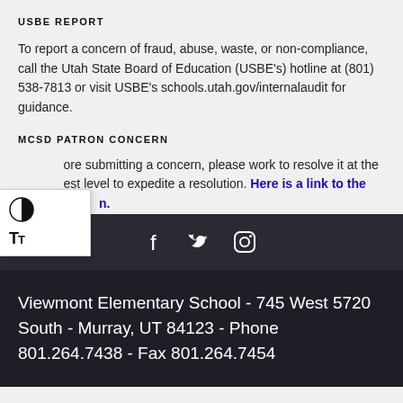USBE REPORT
To report a concern of fraud, abuse, waste, or non-compliance, call the Utah State Board of Education (USBE's) hotline at (801) 538-7813 or visit USBE's schools.utah.gov/internalaudit for guidance.
MCSD PATRON CONCERN
Before submitting a concern, please work to resolve it at the lowest level to expedite a resolution. Here is a link to the form.
[Figure (other): Social media icons row: Facebook, Twitter, Instagram on dark background]
Viewmont Elementary School - 745 West 5720 South - Murray, UT 84123 - Phone 801.264.7438 - Fax 801.264.7454